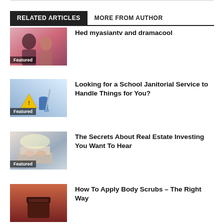RELATED ARTICLES  MORE FROM AUTHOR
[Figure (photo): Two people close together, romantic scene with pink background]
Featured
Hed myasiantv and dramacool
[Figure (photo): Janitorial cleaning supplies including yellow wet floor sign and blue mop bucket]
Featured
Looking for a School Janitorial Service to Handle Things for You?
[Figure (photo): Hands typing on a laptop keyboard with bright light]
Featured
The Secrets About Real Estate Investing You Want To Hear
[Figure (photo): Dark jar of body scrub product]
How To Apply Body Scrubs – The Right Way